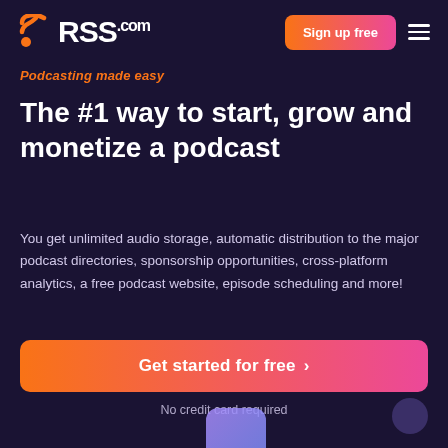[Figure (logo): RSS.com logo with orange RSS signal icon and white RSS.com text]
Sign up free
Podcasting made easy
The #1 way to start, grow and monetize a podcast
You get unlimited audio storage, automatic distribution to the major podcast directories, sponsorship opportunities, cross-platform analytics, a free podcast website, episode scheduling and more!
Get started for free  >
No credit card required